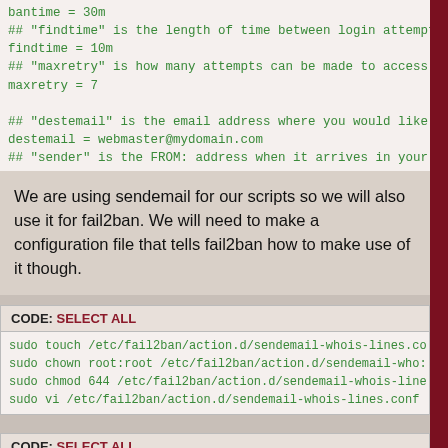bantime = 30m
## "findtime" is the length of time between login attempts
findtime = 10m
## "maxretry" is how many attempts can be made to access t
maxretry = 7

## "destemail" is the email address where you would like t
destemail = webmaster@mydomain.com
## "sender" is the FROM: address when it arrives in your s
We are using sendemail for our scripts so we will also use it for fail2ban. We will need to make a configuration file that tells fail2ban how to make use of it though.
CODE: SELECT ALL
sudo touch /etc/fail2ban/action.d/sendemail-whois-lines.co
sudo chown root:root /etc/fail2ban/action.d/sendemail-who:
sudo chmod 644 /etc/fail2ban/action.d/sendemail-whois-line
sudo vi /etc/fail2ban/action.d/sendemail-whois-lines.conf
CODE: SELECT ALL
[Definition]
actionstart =  /usr/bin/sendemail -f <sender> -t <dest> -s
actionstop =  /usr/bin/sendemail -f <sender> -t <dest> -s
actioncheck =
actionban =  /usr/bin/sendemail -f <sender> -t <dest> -s <
actionunban =